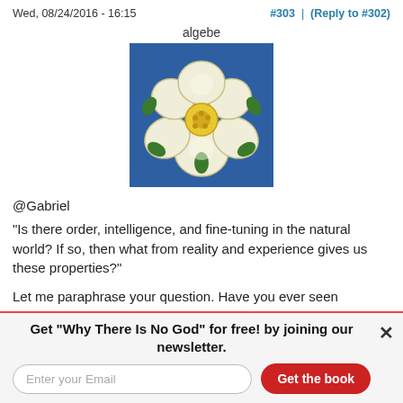Wed, 08/24/2016 - 16:15    #303 | (Reply to #302)
algebe
[Figure (illustration): Avatar image: White rose of Yorkshire on a blue square background. The rose has creamy-white petals with green sepals and a yellow center.]
@Gabriel
"Is there order, intelligence, and fine-tuning in the natural world? If so, then what from reality and experience gives us these properties?"
Let me paraphrase your question. Have you ever seen patterns, shapes, faces in clouds, on toast, or in siltstains on
Get "Why There Is No God" for free! by joining our newsletter.